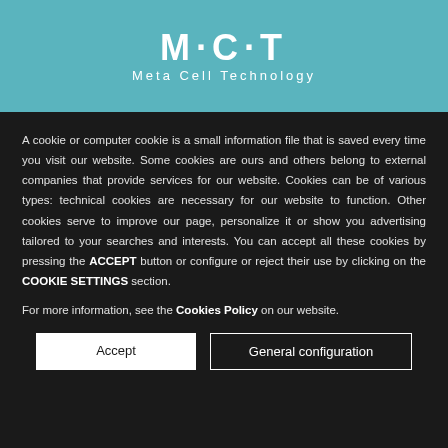[Figure (logo): M·C·T Meta Cell Technology logo in white on teal background]
A cookie or computer cookie is a small information file that is saved every time you visit our website. Some cookies are ours and others belong to external companies that provide services for our website. Cookies can be of various types: technical cookies are necessary for our website to function. Other cookies serve to improve our page, personalize it or show you advertising tailored to your searches and interests. You can accept all these cookies by pressing the ACCEPT button or configure or reject their use by clicking on the COOKIE SETTINGS section.
For more information, see the Cookies Policy on our website.
Accept | General configuration